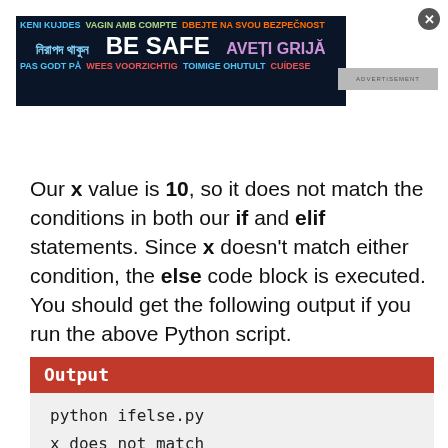[Figure (other): Advertisement banner with multilingual 'BE SAFE' text in various colors on dark background]
Our x value is 10, so it does not match the conditions in both our if and elif statements. Since x doesn't match either condition, the else code block is executed. You should get the following output if you run the above Python script.
Output
python ifelse.py
x does not match